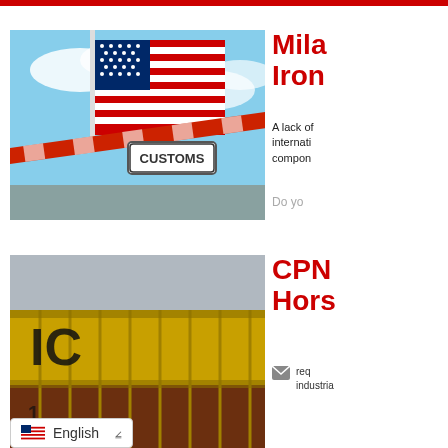[Figure (photo): US Customs gate bar with American flag in background]
Mila Iron
A lack of international components
Do yo
[Figure (photo): Yellow freight shipping containers, partial view]
CPN Hors
req industriа
English